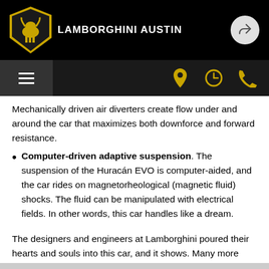LAMBORGHINI AUSTIN
Mechanically driven air diverters create flow under and around the car that maximizes both downforce and forward resistance.
Computer-driven adaptive suspension. The suspension of the Huracán EVO is computer-aided, and the car rides on magnetorheological (magnetic fluid) shocks. The fluid can be manipulated with electrical fields. In other words, this car handles like a dream.
The designers and engineers at Lamborghini poured their hearts and souls into this car, and it shows. Many more features and options are to be had, although they are too numerous to list here.